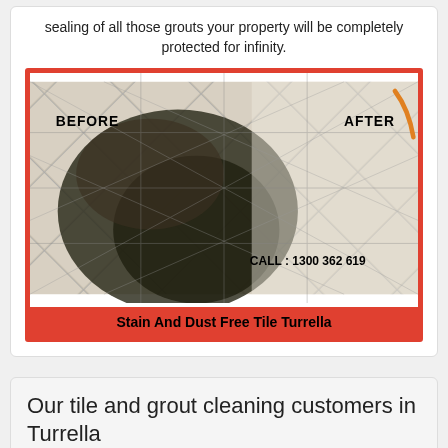sealing of all those grouts your property will be completely protected for infinity.
[Figure (photo): Before and after comparison photo of tile and grout cleaning showing dirty dark grout on the left (BEFORE) and clean light tiles on the right (AFTER), with text 'CALL : 1300 362 619' overlaid. Red border frame around image.]
Stain And Dust Free Tile Turrella
Our tile and grout cleaning customers in Turrella